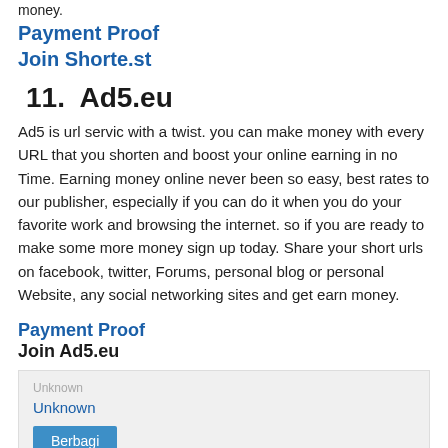money.
Payment Proof
Join Shorte.st
11.  Ad5.eu
Ad5 is url servic with a twist. you can make money with every URL that you shorten and boost your online earning in no Time. Earning money online never been so easy, best rates to our publisher, especially if you can do it when you do your favorite work and browsing the internet. so if you are ready to make some more money sign up today. Share your short urls on facebook, twitter, Forums, personal blog or personal Website, any social networking sites and get earn money.
Payment Proof
Join Ad5.eu
Unknown
Berbagi
96 komentar: